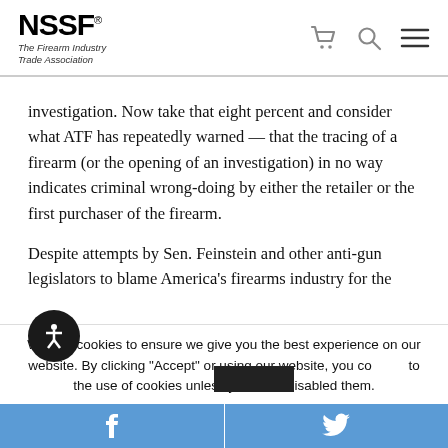NSSF® The Firearm Industry Trade Association
investigation. Now take that eight percent and consider what ATF has repeatedly warned — that the tracing of a firearm (or the opening of an investigation) in no way indicates criminal wrong-doing by either the retailer or the first purchaser of the firearm.
Despite attempts by Sen. Feinstein and other anti-gun legislators to blame America's firearms industry for the
We use cookies to ensure we give you the best experience on our website. By clicking "Accept" or using our website, you consent to the use of cookies unless you have disabled them.